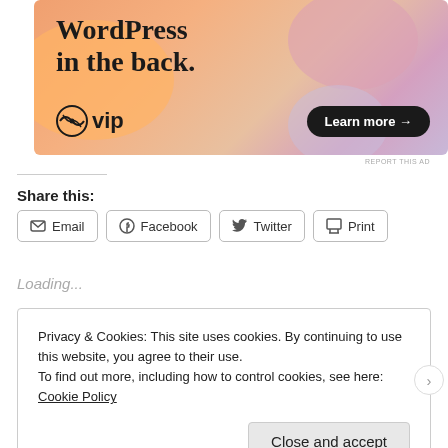[Figure (illustration): WordPress VIP advertisement banner with colorful gradient background (orange, peach, pink, lavender blobs). Text reads 'WordPress in the back.' with WordPress VIP logo on the left and a 'Learn more →' button on the right.]
REPORT THIS AD
Share this:
Email   Facebook   Twitter   Print
Loading...
Privacy & Cookies: This site uses cookies. By continuing to use this website, you agree to their use.
To find out more, including how to control cookies, see here: Cookie Policy
Close and accept